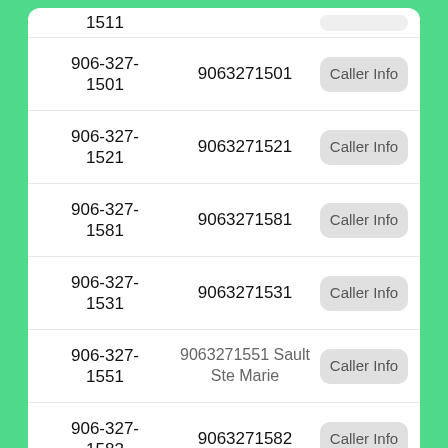906-327-1501 | 9063271501 | Caller Info
906-327-1521 | 9063271521 | Caller Info
906-327-1581 | 9063271581 | Caller Info
906-327-1531 | 9063271531 | Caller Info
906-327-1551 | 9063271551 Sault Ste Marie | Caller Info
906-327-1582 | 9063271582 | Caller Info
906-327-1542 | 9063271542 | Caller Info
906-327-1502 | 9063271502 | Caller Info